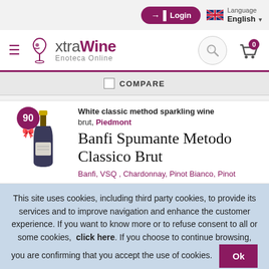Login | Language English
[Figure (logo): xtraWine Enoteca Online logo with hamburger menu, search icon, and cart icon showing 0 items]
COMPARE
White classic method sparkling wine brut, Piedmont
Banfi Spumante Metodo Classico Brut
Banfi, VSQ, Chardonnay, Pinot Bianco, Pinot
This site uses cookies, including third party cookies, to provide its services and to improve navigation and enhance the customer experience. If you want to know more or to refuse consent to all or some cookies, click here. If you choose to continue browsing, you are confirming that you accept the use of cookies. Ok